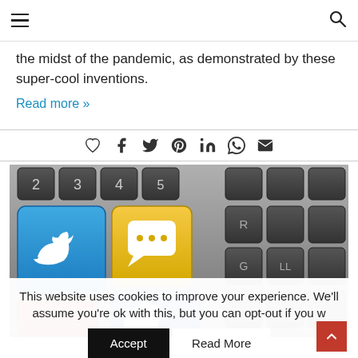≡ [hamburger menu] [search icon]
the midst of the pandemic, as demonstrated by these super-cool inventions.
Read more »
[Figure (other): Row of social media sharing icons: heart (like), Facebook, Twitter, Pinterest, LinkedIn, WhatsApp, email envelope]
[Figure (photo): Close-up of a computer keyboard with social media icon keys: blue Twitter bird key, yellow chat bubble key, red key, blue Facebook thumbs-up key, and regular gray number keys in background]
This website uses cookies to improve your experience. We'll assume you're ok with this, but you can opt-out if you w
Accept   Read More